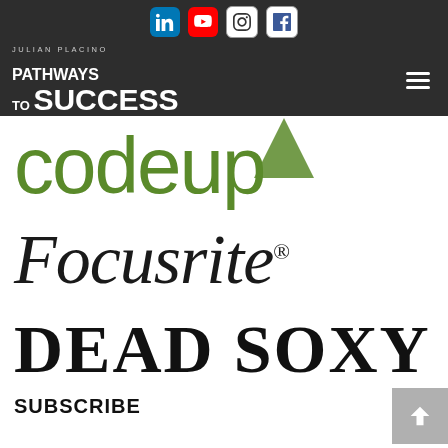Social media icons: LinkedIn, YouTube, Instagram, Facebook
Julian Placino — Pathways To Success
[Figure (logo): Codeup logo in green with an arrow graphic]
[Figure (logo): Focusrite® logo in black serif font]
[Figure (logo): DEAD SOXY logo in black uppercase serif font]
SUBSCRIBE